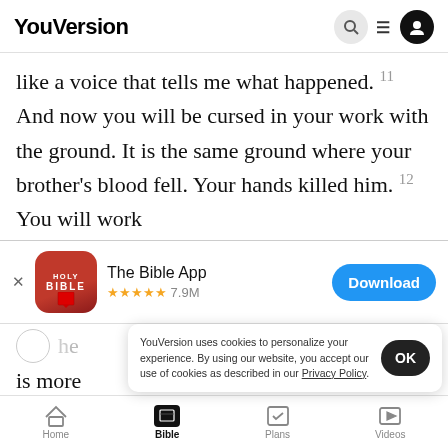YouVersion
like a voice that tells me what happened. 11 And now you will be cursed in your work with the ground. It is the same ground where your brother's blood fell. Your hands killed him. 12 You will work
[Figure (screenshot): App download banner for The Bible App with Holy Bible icon, 5 stars, 7.9M rating, and Download button]
is more
me to stop working the ground. And now I must
YouVersion uses cookies to personalize your experience. By using our website, you accept our use of cookies as described in our Privacy Policy.
Home  Bible  Plans  Videos